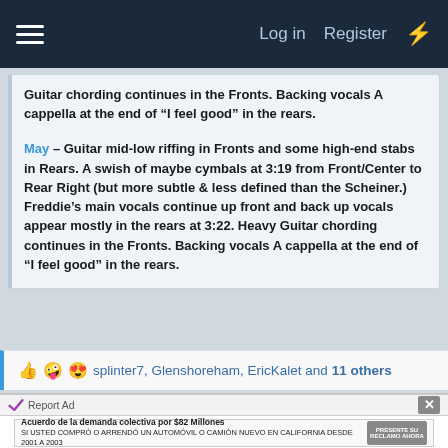Log in  Register
Guitar chording continues in the Fronts. Backing vocals A cappella at the end of “I feel good” in the rears.
May – Guitar mid-low riffing in Fronts and some high-end stabs in Rears. A swish of maybe cymbals at 3:19 from Front/Center to Rear Right (but more subtle & less defined than the Scheiner.) Freddie’s main vocals continue up front and back up vocals appear mostly in the rears at 3:22. Heavy Guitar chording continues in the Fronts. Backing vocals A cappella at the end of “I feel good” in the rears.
splinter7, Glenshoreham, EricKalet and 11 others